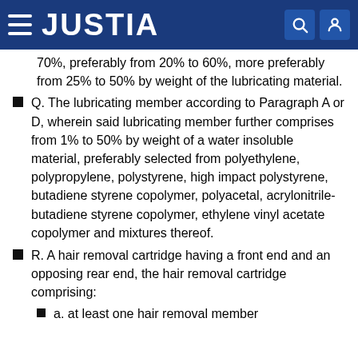JUSTIA
70%, preferably from 20% to 60%, more preferably from 25% to 50% by weight of the lubricating material.
Q. The lubricating member according to Paragraph A or D, wherein said lubricating member further comprises from 1% to 50% by weight of a water insoluble material, preferably selected from polyethylene, polypropylene, polystyrene, high impact polystyrene, butadiene styrene copolymer, polyacetal, acrylonitrile-butadiene styrene copolymer, ethylene vinyl acetate copolymer and mixtures thereof.
R. A hair removal cartridge having a front end and an opposing rear end, the hair removal cartridge comprising:
a. at least one hair removal member